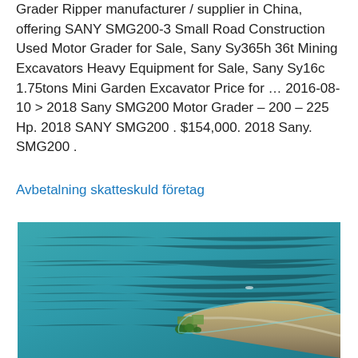Grader Ripper manufacturer / supplier in China, offering SANY SMG200-3 Small Road Construction Used Motor Grader for Sale, Sany Sy365h 36t Mining Excavators Heavy Equipment for Sale, Sany Sy16c 1.75tons Mini Garden Excavator Price for … 2016-08-10 > 2018 Sany SMG200 Motor Grader – 200 – 225 Hp. 2018 SANY SMG200 . $154,000. 2018 Sany. SMG200 .
Avbetalning skatteskuld företag
[Figure (photo): Aerial photograph of a narrow peninsula or cape jutting into a teal-blue sea, with agricultural fields and trees visible at the tip, taken from above.]